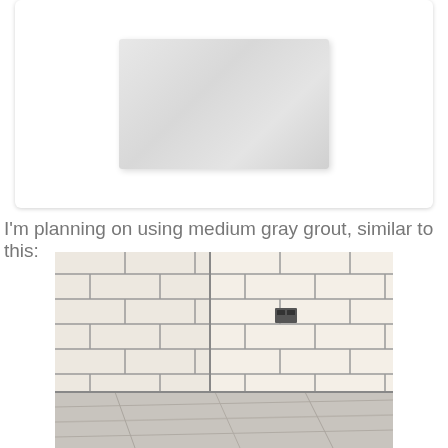[Figure (photo): A white/light gray subway tile swatch shown against a white card background with subtle shadow.]
I'm planning on using medium gray grout, similar to this:
[Figure (photo): Photo of a kitchen or bathroom backsplash corner showing white subway tiles with medium gray grout, and a marble-look floor tile visible at the bottom.]